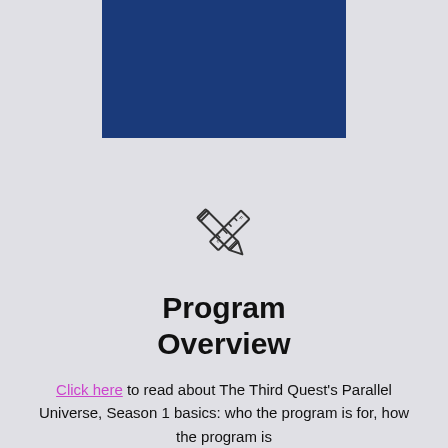[Figure (illustration): Dark navy blue rectangle banner at the top center of the page]
[Figure (illustration): Crossed pencil and ruler icon, outline style, centered on the page]
Program Overview
Click here to read about The Third Quest's Parallel Universe, Season 1 basics: who the program is for, how the program is